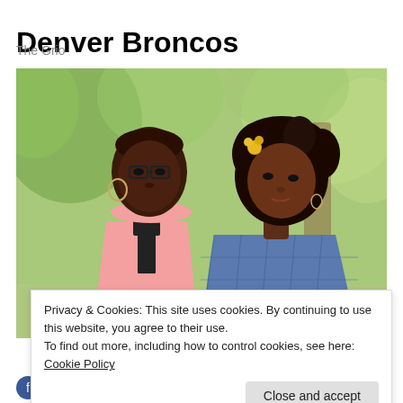Denver Broncos
The Grio
[Figure (photo): Two young Black women posing outdoors, one wearing glasses and a pink sleeveless top, the other leaning her head on the first with curly hair and a yellow flower accessory, wearing a blue gingham shirt. Blurred green trees in background.]
Privacy & Cookies: This site uses cookies. By continuing to use this website, you agree to their use.
To find out more, including how to control cookies, see here: Cookie Policy
Close and accept